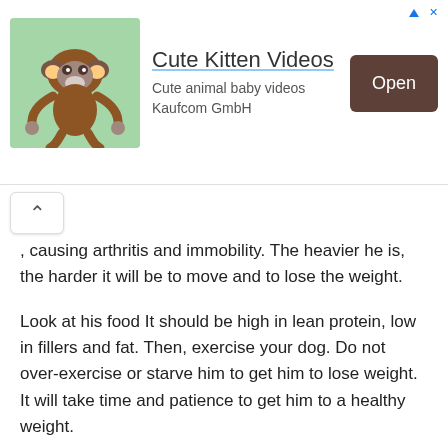[Figure (advertisement): Ad banner for 'Cute Kitten Videos' app by Kaufcom GmbH, featuring a monkey photo, title text underlined, subtitle 'Cute animal baby videos Kaufcom GmbH', and an 'Open' button on the right.]
, causing arthritis and immobility. The heavier he is, the harder it will be to move and to lose the weight.
Look at his food It should be high in lean protein, low in fillers and fat. Then, exercise your dog. Do not over-exercise or starve him to get him to lose weight. It will take time and patience to get him to a healthy weight.
Don't Miss:  Full Grown Male German Shepherd
Grooming And Nail Care
The double coat of a German Shepherd is easy to maintain. The...